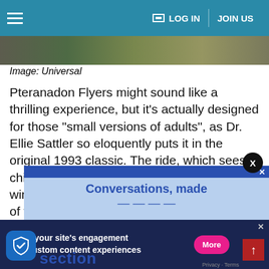LOG IN  JOIN US
[Figure (photo): Partial view of an outdoor theme park area image strip]
Image: Universal
Pteranadon Flyers might sound like a thrilling experience, but it's actually designed for those "small versions of adults", as Dr. Ellie Sattler so eloquently puts it in the original 1993 classic. The ride, which sees children taking flight beneath the 10-foot wings of a pteranadon, offers amazing views of the surrounding area.
[Figure (screenshot): Advertisement banner: Conversations, made — blue and light blue tones]
[Figure (screenshot): Advertisement overlay: Boost your site's engagement with custom content experiences, with More button]